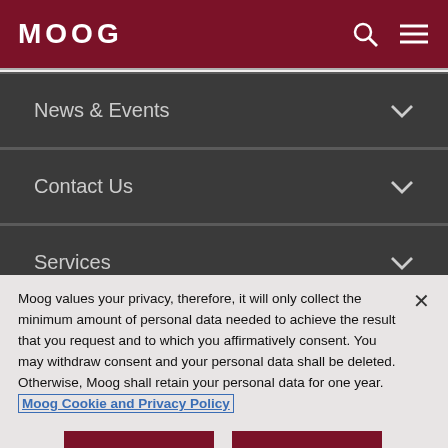MOOG
News & Events
Contact Us
Services
Moog values your privacy, therefore, it will only collect the minimum amount of personal data needed to achieve the result that you request and to which you affirmatively consent. You may withdraw consent and your personal data shall be deleted. Otherwise, Moog shall retain your personal data for one year. Moog Cookie and Privacy Policy
Cookies Settings
Accept